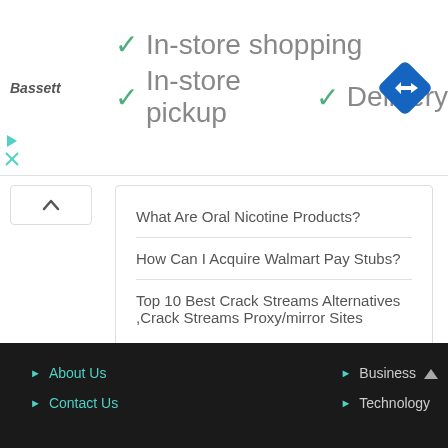[Figure (other): Advertisement banner for Bassett furniture showing checkmarks for In-store shopping, In-store pickup, and Delivery services, with a blue navigation/directions icon on the right]
What Are Oral Nicotine Products?
How Can I Acquire Walmart Pay Stubs?
Top 10 Best Crack Streams Alternatives ,Crack Streams Proxy/mirror Sites
About Us  Contact Us  Business  Technology